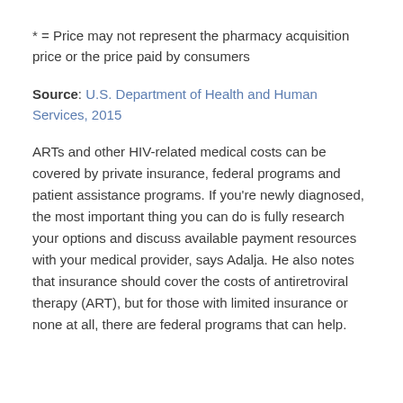* = Price may not represent the pharmacy acquisition price or the price paid by consumers
Source: U.S. Department of Health and Human Services, 2015
ARTs and other HIV-related medical costs can be covered by private insurance, federal programs and patient assistance programs. If you're newly diagnosed, the most important thing you can do is fully research your options and discuss available payment resources with your medical provider, says Adalja. He also notes that insurance should cover the costs of antiretroviral therapy (ART), but for those with limited insurance or none at all, there are federal programs that can help.